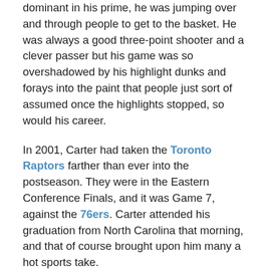dominant in his prime, he was jumping over and through people to get to the basket. He was always a good three-point shooter and a clever passer but his game was so overshadowed by his highlight dunks and forays into the paint that people just sort of assumed once the highlights stopped, so would his career.
In 2001, Carter had taken the Toronto Raptors farther than ever into the postseason. They were in the Eastern Conference Finals, and it was Game 7, against the 76ers. Carter attended his graduation from North Carolina that morning, and that of course brought upon him many a hot sports take.
With two seconds left, Carter had a chance to win the game, but missed a long jumper at the buzzer. That miss was the beginning of the end for his time in Toronto and he was traded to the Nets a couple of